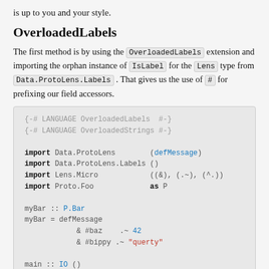is up to you and your style.
OverloadedLabels
The first method is by using the OverloadedLabels extension and importing the orphan instance of IsLabel for the Lens type from Data.ProtoLens.Labels . That gives us the use of # for prefixing our field accessors.
[Figure (screenshot): Haskell code block showing LANGUAGE pragmas, import statements, and code using OverloadedLabels with defMessage, #baz, #bippy, and a main function.]